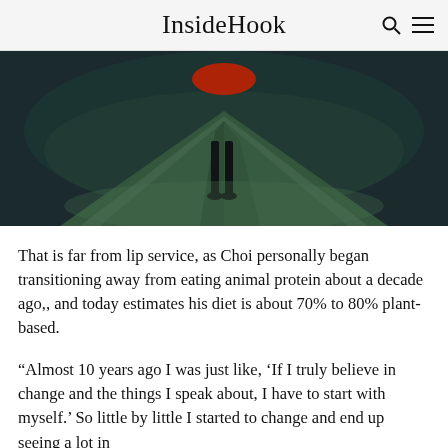InsideHook
[Figure (photo): Dark atmospheric photo showing a person's legs/feet standing on a triangular green hill or mound against a dark smoky background, with a red circular element at the top]
That is far from lip service, as Choi personally began transitioning away from eating animal protein about a decade ago,, and today estimates his diet is about 70% to 80% plant-based.
“Almost 10 years ago I was just like, ‘If I truly believe in change and the things I speak about, I have to start with myself.’ So little by little I started to change and end up seeing a lot in